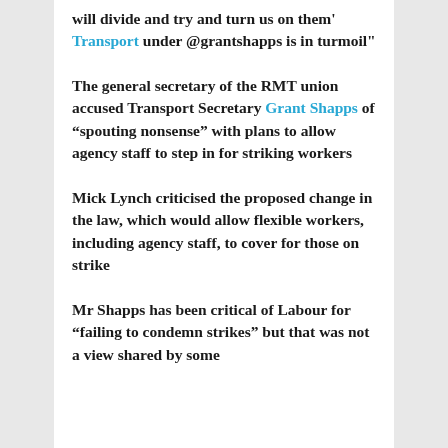will divide and try and turn us on them' Transport under @grantshapps is in turmoil"
The general secretary of the RMT union accused Transport Secretary Grant Shapps of “spouting nonsense” with plans to allow agency staff to step in for striking workers
Mick Lynch criticised the proposed change in the law, which would allow flexible workers, including agency staff, to cover for those on strike
Mr Shapps has been critical of Labour for “failing to condemn strikes” but that was not a view shared by some